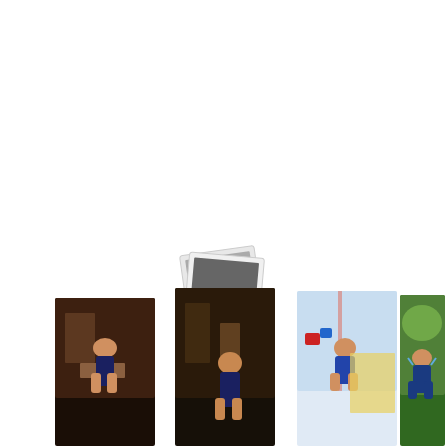[Figure (illustration): Broken image placeholder icon — two overlapping polaroid-style photo frames with a dark grey rectangle inside, suggesting a missing or unloaded image]
[Figure (photo): Four small thumbnail photos arranged horizontally at the bottom of the page showing a toddler/young child in various settings: (1) indoor kitchen scene with child sitting on counter, (2) indoor kitchen scene with child standing/jumping, (3) indoor scene with child in a doorway jumper toy, (4) outdoor garden scene with child in a jumper toy harness]